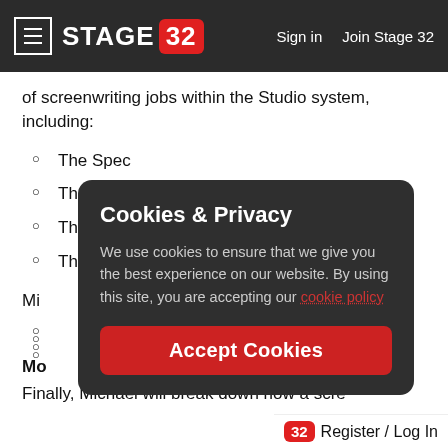≡ STAGE 32 | Sign in  Join Stage 32
of screenwriting jobs within the Studio system, including:
The Spec
The Pitch
The Rewrite
The Script Doctor
Mi[chael...]
Mo[re...]
Finally, Michael will break down how a scre[enwriter...]
[Figure (screenshot): Cookies & Privacy modal overlay on Stage 32 website. Title: 'Cookies & Privacy'. Body text: 'We use cookies to ensure that we give you the best experience on our website. By using this site, you are accepting our cookie policy'. Button: 'Accept Cookies']